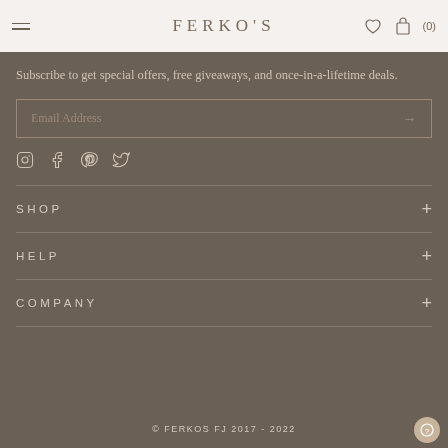FERKO'S — menu, wishlist, cart (0)
Subscribe to get special offers, free giveaways, and once-in-a-lifetime deals.
[Figure (infographic): Email address input field with arrow submit button]
[Figure (infographic): Social media icons: Instagram, Facebook, Pinterest, Twitter]
SHOP
HELP
COMPANY
© FERKOS FJ 2017 - 2022